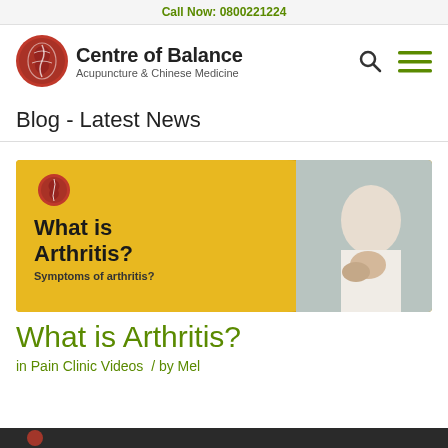Call Now: 0800221224
[Figure (logo): Centre of Balance Acupuncture & Chinese Medicine logo with circular red emblem and search/menu icons]
Blog - Latest News
[Figure (illustration): Blog article featured image: yellow and photo background showing 'What is Arthritis? Symptoms of arthritis?' with Centre of Balance logo, and a person holding their wrist]
What is Arthritis?
in Pain Clinic Videos  /  by Mel